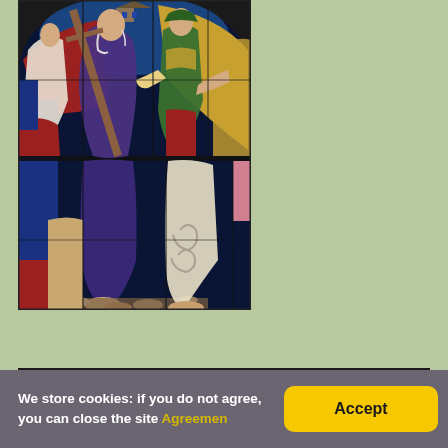[Figure (photo): Stained glass window depicting a robed figure (likely Jesus or a saint) carrying a cross, surrounded by Roman soldiers and other figures. The scene shows vibrant colors including blue, red, green, gold, and white against a dark background typical of medieval stained glass art.]
We store cookies: if you do not agree, you can close the site Agreement